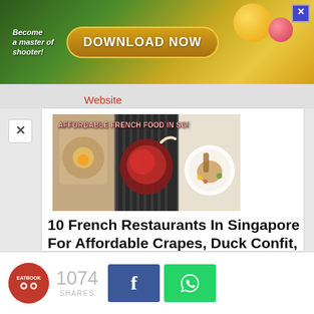[Figure (screenshot): Advertisement banner with 'Become a master of shooter!' text and 'DOWNLOAD NOW' button on a gold/green gradient background with decorative balls and close button]
Website
Full list of locations
[Figure (photo): Food collage showing three panels: crepe with egg, sliced steak/meat, and plated French dinner dish. Overlay text reads 'AFFORDABLE FRENCH FOOD IN SG!']
10 French Restaurants In Singapore For Affordable Crapes, Duck Confit, And
1074 SHARES
[Figure (logo): Eatbook circular logo in red]
Facebook share button
WhatsApp share button